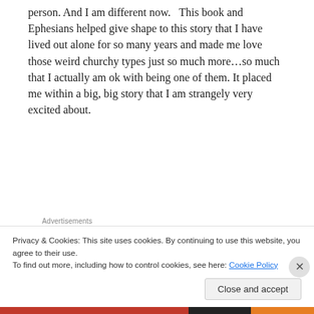person. And I am different now.  This book and Ephesians helped give shape to this story that I have lived out alone for so many years and made me love those weird churchy types just so much more…so much that I actually am ok with being one of them. It placed me within a big, big story that I am strangely very excited about.
Advertisements
[Figure (other): Advertisement banner: dark background with white circle icon (bonsai tree), teal text 'Launch your online course with WordPress', white underlined text 'Learn More']
Privacy & Cookies: This site uses cookies. By continuing to use this website, you agree to their use.
To find out more, including how to control cookies, see here: Cookie Policy
Close and accept